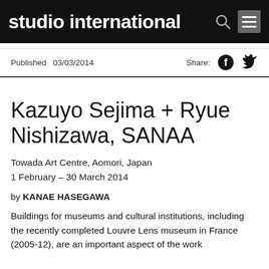studio international
Published  03/03/2014
Kazuyo Sejima + Ryue Nishizawa, SANAA
Towada Art Centre, Aomori, Japan
1 February – 30 March 2014
by KANAE HASEGAWA
Buildings for museums and cultural institutions, including the recently completed Louvre Lens museum in France (2005-12), are an important aspect of the work